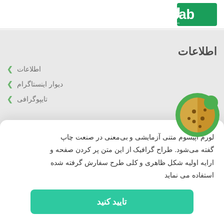UFab - All you need for fabrication
اطلاعات
اطلاعات
دیوار اینستاگرام
تایپوگرافی
[Figure (illustration): Cookie illustration - half brown/gold cookie with dots on green circle background]
لورم اپیسوم متنی آزمایشی و بی‌معنی در صنعت چاپ گفته می‌شود. طراح گرافیک از این متن پر کردن صفحه و ارایه اولیه شکل ظاهری و کلی طرح سفارش گرفته شده استفاده می نماید
تایید کنید